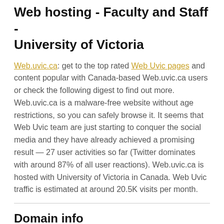Web hosting - Faculty and Staff - University of Victoria
Web.uvic.ca: get to the top rated Web Uvic pages and content popular with Canada-based Web.uvic.ca users or check the following digest to find out more. Web.uvic.ca is a malware-free website without age restrictions, so you can safely browse it. It seems that Web Uvic team are just starting to conquer the social media and they have already achieved a promising result — 27 user activities so far (Twitter dominates with around 87% of all user reactions). Web.uvic.ca is hosted with University of Victoria in Canada. Web Uvic traffic is estimated at around 20.5K visits per month.
Domain info